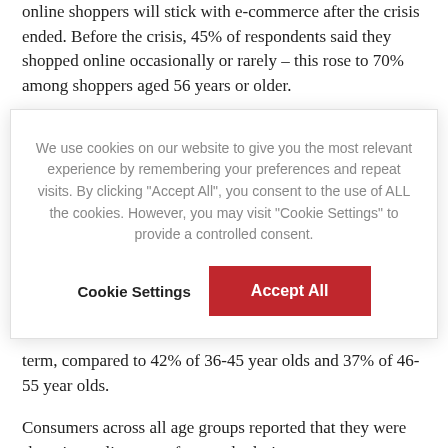online shoppers will stick with e-commerce after the crisis ended. Before the crisis, 45% of respondents said they shopped online occasionally or rarely – this rose to 70% among shoppers aged 56 years or older.
We use cookies on our website to give you the most relevant experience by remembering your preferences and repeat visits. By clicking "Accept All", you consent to the use of ALL the cookies. However, you may visit "Cookie Settings" to provide a controlled consent.
term, compared to 42% of 36-45 year olds and 37% of 46-55 year olds.
Consumers across all age groups reported that they were shopping online more frequently during